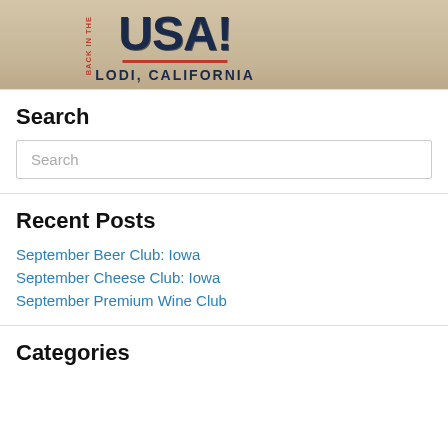[Figure (illustration): Banner image showing 'BACK IN THE USA! LODI, CALIFORNIA' text overlaid on a sandy/stone background. 'USA!' is large bold navy text, 'BACK IN THE' is vertical red text on left side, 'LODI, CALIFORNIA' appears below in navy bold letters, with a red underline separating them.]
Search
Search
Recent Posts
September Beer Club: Iowa
September Cheese Club: Iowa
September Premium Wine Club
Categories